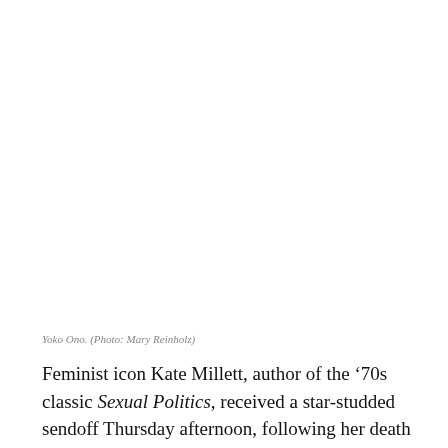[Figure (photo): Photo of Yoko Ono (image area, blank/white in this rendering)]
Yoko Ono. (Photo: Mary Reinholz)
Feminist icon Kate Millett, author of the ’70s classic Sexual Politics, received a star-studded sendoff Thursday afternoon, following her death on September 6 at age 82. The Upper West